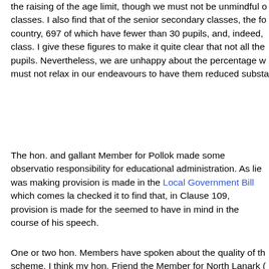the raising of the age limit, though we must not be unmindful of classes. I also find that of the senior secondary classes, the fo country, 697 of which have fewer than 30 pupils, and, indeed, class. I give these figures to make it quite clear that not all the pupils. Nevertheless, we are unhappy about the percentage w must not relax in our endeavours to have them reduced substa
The hon. and gallant Member for Pollok made some observatio responsibility for educational administration. As lie was making provision is made in the Local Government Bill which comes la checked it to find that, in Clause 109, provision is made for the seemed to have in mind in the course of his speech.
One or two hon. Members have spoken about the quality of the scheme. I think my hon. Friend the Member for North Lanark ( learn the quality of the students we got under this scheme was Indeed, perhaps I should again refer to what my right hon. Frie Committee the number of applications under the scheme and t information in order to show the Committee that more than twi required. The Committee to which my hon. Friend the Member exercise the greatest care in the selection; and training authori